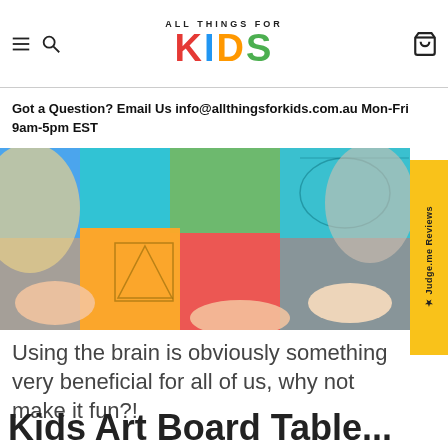ALL THINGS FOR KIDS
Got a Question? Email Us info@allthingsforkids.com.au Mon-Fri 9am-5pm EST
[Figure (photo): Children playing with colorful geometric puzzle pieces on a table, hands visible reaching for the shapes]
★ Judge.me Reviews
Using the brain is obviously something very beneficial for all of us, why not make it fun?!
Kids Art Board Table...